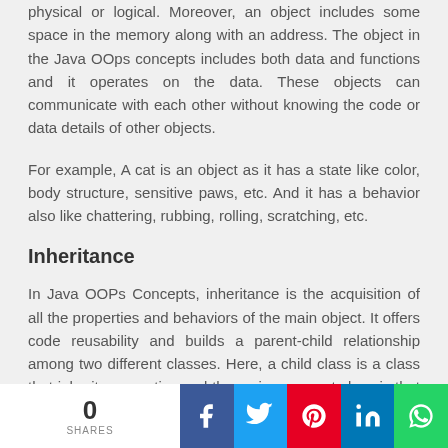physical or logical. Moreover, an object includes some space in the memory along with an address. The object in the Java OOps concepts includes both data and functions and it operates on the data. These objects can communicate with each other without knowing the code or data details of other objects.
For example, A cat is an object as it has a state like color, body structure, sensitive paws, etc. And it has a behavior also like chattering, rubbing, rolling, scratching, etc.
Inheritance
In Java OOPs Concepts, inheritance is the acquisition of all the properties and behaviors of the main object. It offers code reusability and builds a parent-child relationship among two different classes. Here, a child class is a class that inherits properties and the main or parent class is that whose properties are inherited.
0 SHARES | Facebook | Twitter | Pinterest | LinkedIn | WhatsApp